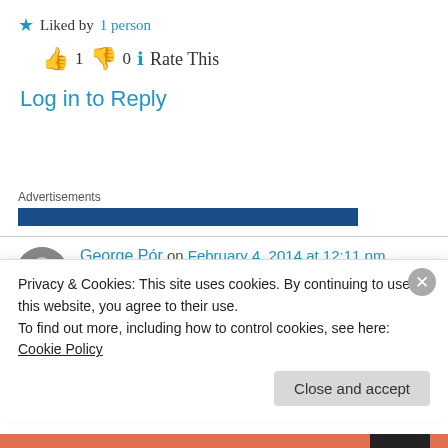Liked by 1 person
👍 1 👎 0 ℹ Rate This
Log in to Reply
Advertisements
[Figure (other): Blue advertisement banner bar]
George Pór on February 4, 2014 at 12:11 pm
Anna, I treasure the experience and wisdom
Privacy & Cookies: This site uses cookies. By continuing to use this website, you agree to their use.
To find out more, including how to control cookies, see here: Cookie Policy
Close and accept